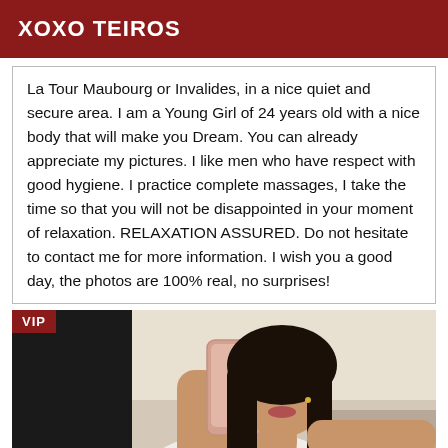XOXO TEIROS
La Tour Maubourg or Invalides, in a nice quiet and secure area. I am a Young Girl of 24 years old with a nice body that will make you Dream. You can already appreciate my pictures. I like men who have respect with good hygiene. I practice complete massages, I take the time so that you will not be disappointed in your moment of relaxation. RELAXATION ASSURED. Do not hesitate to contact me for more information. I wish you a good day, the photos are 100% real, no surprises!
[Figure (photo): Young woman in white top taking a selfie in a mirror, holding a rose-gold phone, wearing a cross necklace, with long dark hair. A dark background is visible. VIP badge in top-left corner.]